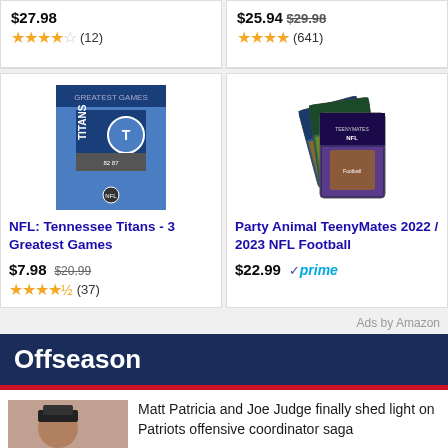$7.98 $20.99 ★★★★½ (12)
$25.94 $29.98 ★★★★ (641)
[Figure (photo): NFL Tennessee Titans 3 Greatest Games DVD cover with blue background and Titans logo]
NFL: Tennessee Titans - 3 Greatest Games
$7.98 $20.99 ★★★★½ (37)
[Figure (photo): Party Animal TeenyMates 2022/2023 NFL Football figurine pack showing stacked card packs]
Party Animal TeenyMates 2022 / 2023 NFL Football
$22.99 ✓prime
Ads by Amazon
Offseason
[Figure (photo): Matt Patricia and Joe Judge photo]
Matt Patricia and Joe Judge finally shed light on Patriots offensive coordinator saga